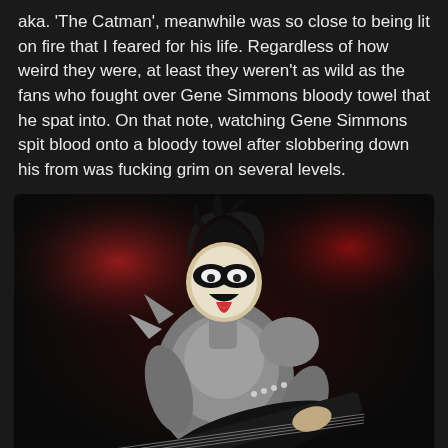aka. 'The Catman', meanwhile was so close to being lit on fire that I feared for his life. Regardless of how weird they were, at least they weren't as wild as the fans who fought over Gene Simmons bloody towel that he spat into. On that note, watching Gene Simmons spit blood onto a bloody towel after slobbering down his from was fucking grim on several levels.
[Figure (photo): Gene Simmons of KISS performing on stage in full costume — silver armored outfit with spikes, face paint with white and black design, tongue extended, playing a black bass guitar. Dark stage background with red lighting.]